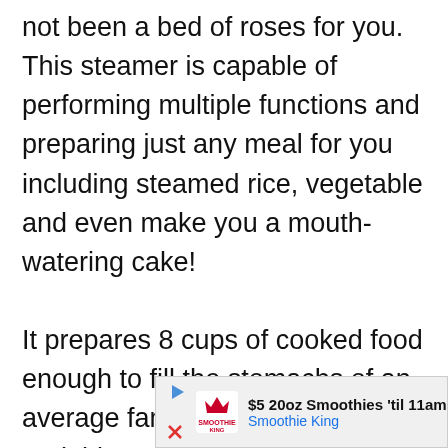not been a bed of roses for you. This steamer is capable of performing multiple functions and preparing just any meal for you including steamed rice, vegetable and even make you a mouth-watering cake!

It prepares 8 cups of cooked food enough to fill the stomachs of an average family. Time is money and this steamer understands that just fine. With the built-in steamer function, this appliance can
[Figure (other): Advertisement banner for Smoothie King: '$5 20oz Smoothies til 11am' with Smoothie King logo, play button, close button, and blue navigation arrow icon.]